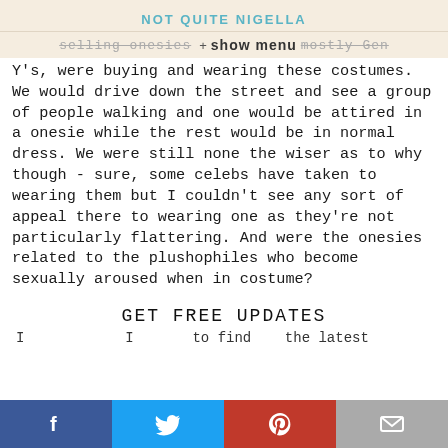NOT QUITE NIGELLA
selling onesies + show menu mostly Gen
Y's, were buying and wearing these costumes. We would drive down the street and see a group of people walking and one would be attired in a onesie while the rest would be in normal dress. We were still none the wiser as to why though - sure, some celebs have taken to wearing them but I couldn't see any sort of appeal there to wearing one as they're not particularly flattering. And were the onesies related to the plushophiles who become sexually aroused when in costume?
GET FREE UPDATES
I never I to find the latest